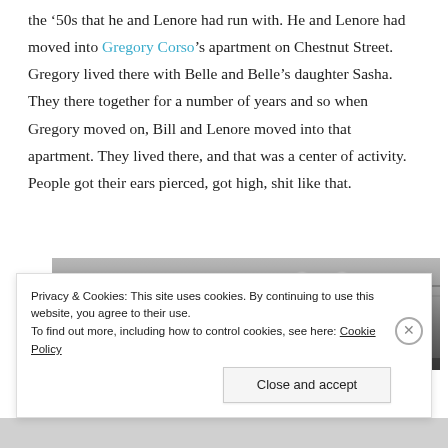the '50s that he and Lenore had run with. He and Lenore had moved into Gregory Corso's apartment on Chestnut Street. Gregory lived there with Belle and Belle's daughter Sasha. They there together for a number of years and so when Gregory moved on, Bill and Lenore moved into that apartment. They lived there, and that was a center of activity. People got their ears pierced, got high, shit like that.
[Figure (photo): Black and white photograph showing a partial view of a room with overhead lights and a person's head silhouette visible in the lower portion]
Privacy & Cookies: This site uses cookies. By continuing to use this website, you agree to their use.
To find out more, including how to control cookies, see here: Cookie Policy
[Close and accept button]